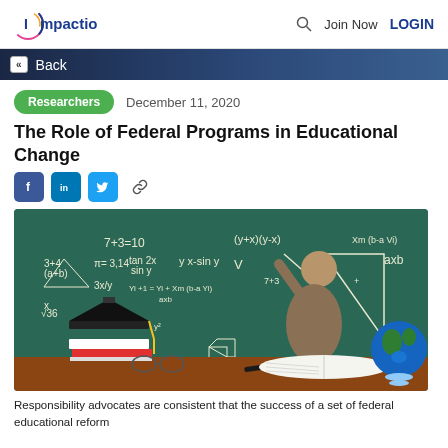Impactio | Join Now | LOGIN
Back
Researchers   December 11, 2020
The Role of Federal Programs in Educational Change
[Figure (illustration): Illustration of a teacher writing math equations on a green chalkboard. In the foreground are a graduation cap on books, eyeglasses, a pencil, and a globe. Equations visible include 7+3=10, (y+x)(y-x), tan 2x/sin y, x-sin y, cos x, Yi+1=Yi+Xm(b-a Vi)/axb, √36, 3x/y, π=3.14, axb, a³, Xm(b-a Vi).]
Responsibility advocates are consistent that the success of a set of federal educational reform